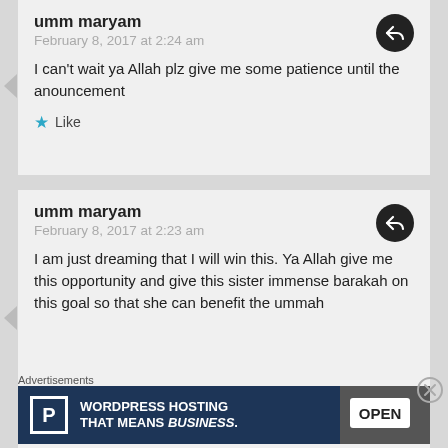umm maryam
February 8, 2017 at 2:24 am
I can't wait ya Allah plz give me some patience until the anouncement
★ Like
umm maryam
February 8, 2017 at 2:23 am
I am just dreaming that I will win this. Ya Allah give me this opportunity and give this sister immense barakah on this goal so that she can benefit the ummah
Advertisements
[Figure (screenshot): Advertisement banner for WordPress Hosting with 'P' logo and 'OPEN' sign photo on right]